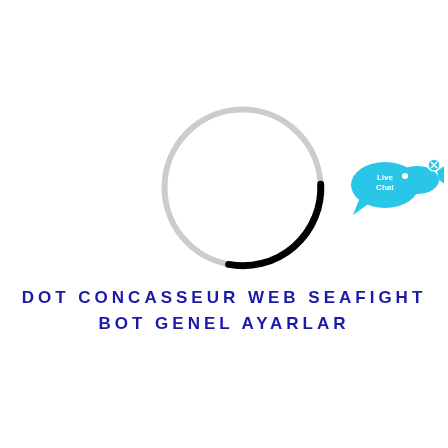[Figure (other): A loading spinner circle: thin light gray ring with a short black arc segment on the lower-left portion, indicating a loading state.]
[Figure (other): A cyan/blue live chat widget icon in the upper-right area. Shows a speech bubble shape with 'Live Chat' text inside and a small fish silhouette to the right, with a small X close button.]
DOT CONCASSEUR WEB SEAFIGHT BOT GENEL AYARLAR